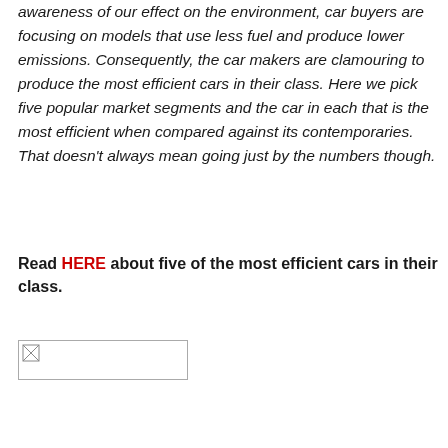awareness of our effect on the environment, car buyers are focusing on models that use less fuel and produce lower emissions. Consequently, the car makers are clamouring to produce the most efficient cars in their class. Here we pick five popular market segments and the car in each that is the most efficient when compared against its contemporaries. That doesn't always mean going just by the numbers though.
Read HERE about five of the most efficient cars in their class.
[Figure (photo): A broken/missing image placeholder icon with a border, representing an image that failed to load.]